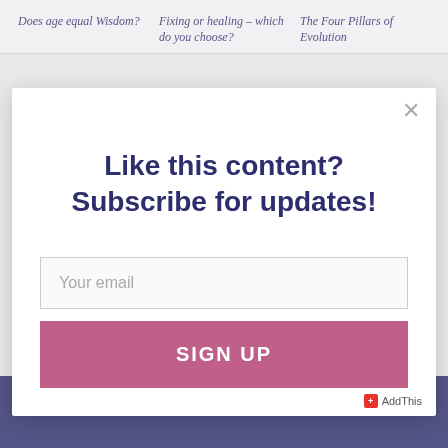Does age equal Wisdom? | Fixing or healing – which do you choose? | The Four Pillars of Evolution
Like this content? Subscribe for updates!
Your email
SIGN UP
AddThis